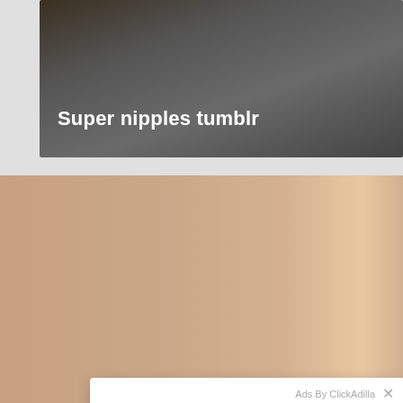[Figure (screenshot): Dark background video thumbnail showing a room/interior scene]
Super nipples tumblr
[Figure (screenshot): Ad popup overlay from ClickAdilla saying 'Kate sent you (5) pictures' with Ok button, displayed over a blurred background image]